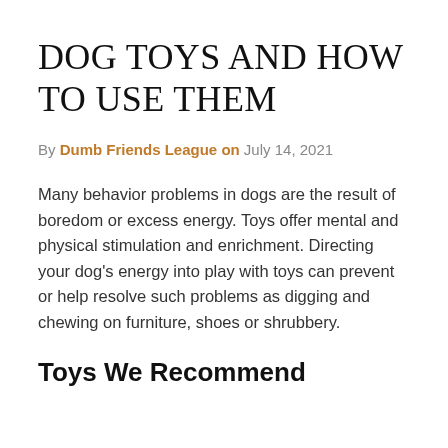DOG TOYS AND HOW TO USE THEM
By Dumb Friends League on July 14, 2021
Many behavior problems in dogs are the result of boredom or excess energy. Toys offer mental and physical stimulation and enrichment. Directing your dog’s energy into play with toys can prevent or help resolve such problems as digging and chewing on furniture, shoes or shrubbery.
Toys We Recommend